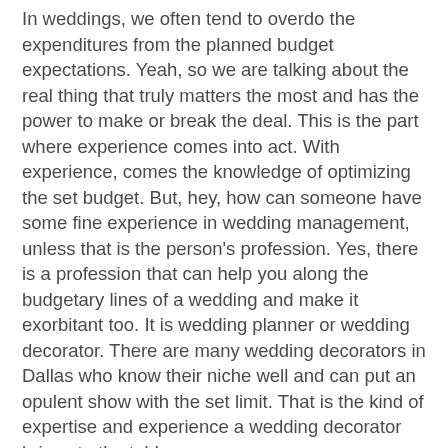In weddings, we often tend to overdo the expenditures from the planned budget expectations. Yeah, so we are talking about the real thing that truly matters the most and has the power to make or break the deal. This is the part where experience comes into act. With experience, comes the knowledge of optimizing the set budget. But, hey, how can someone have some fine experience in wedding management, unless that is the person's profession. Yes, there is a profession that can help you along the budgetary lines of a wedding and make it exorbitant too. It is wedding planner or wedding decorator. There are many wedding decorators in Dallas who know their niche well and can put an opulent show with the set limit. That is the kind of expertise and experience a wedding decorator brings to the table.
Often people tend to think that a wedding planner or wedding decorator would cost them extra and do the same job, but what they often underrate is the quality and